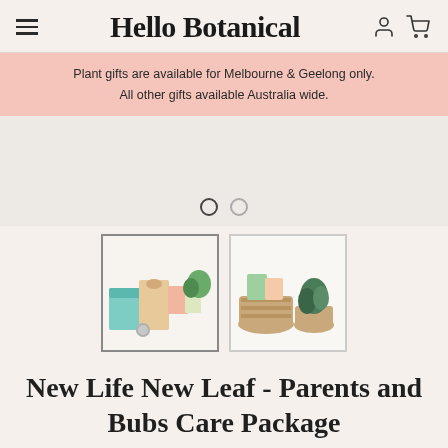Hello Botanical
Plant gifts are available for Melbourne & Geelong only. All other gifts available Australia wide.
[Figure (photo): Product image carousel slider area with navigation dots, showing a light grey/beige background. Two dots visible below: one solid/active, one inactive.]
[Figure (photo): Thumbnail 1 (selected): New Life New Leaf gift package flat lay showing teal packaging, floral wrap, small tin, and greenery on white background.]
[Figure (photo): Thumbnail 2: New Life New Leaf gift package in woven basket with small potted plant and items, on white background.]
New Life New Leaf - Parents and Bubs Care Package